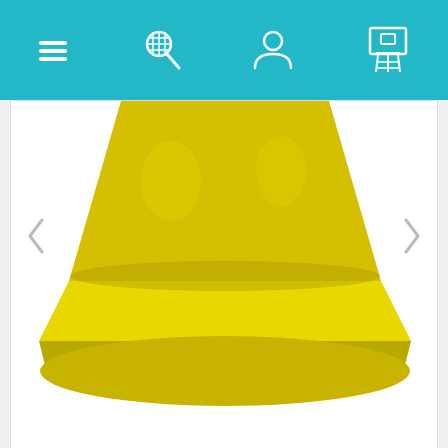[Figure (screenshot): Mobile app screenshot showing a shopping app with teal navigation bar at top containing hamburger menu, search/badminton racket icon, user icon, and shopping basket icon. Main area shows a yellow bowler hat product image on white background with left/right navigation arrows. Below are 4 thumbnail variants of the hat in different colors: dark green, yellow-green, red-pink, and pink-red. At the bottom is a review bar with King-Avis logo/badge, 5 gold stars, 'Very good' text, and '193 reviews', plus an X close button.]